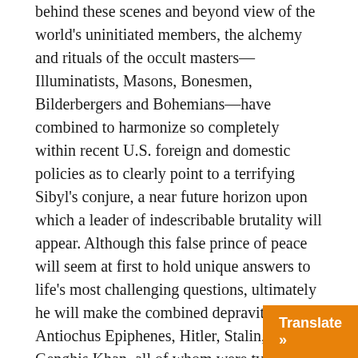behind these scenes and beyond view of the world's uninitiated members, the alchemy and rituals of the occult masters—Illuminatists, Masons, Bonesmen, Bilderbergers and Bohemians—have combined to harmonize so completely within recent U.S. foreign and domestic policies as to clearly point to a terrifying Sibyl's conjure, a near future horizon upon which a leader of indescribable brutality will appear. Although this false prince of peace will seem at first to hold unique answers to life's most challenging questions, ultimately he will make the combined depravities of Antiochus Epiphenes, Hitler, Stalin, and Genghis Khan, all of whom were types of the Antichrist, look like child's play.
He will raise his fist, "speaking great things…. in blasphemy against God, to blaspheme his name, and his tabernacle, and them that dwell in heaven" (Rev. 13:5-6). He will champion worship of the "old gods" and "cause that as many as would not worship the image of the beast should be killed" (Rev. 13:15), and he will revive an ancient mystery religion that is "the habitation of devils, an...